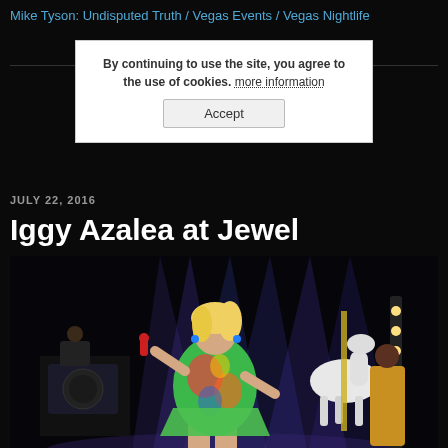Mike Tyson: Undisputed Truth / Vegas Events / Vegas Nightlife
By continuing to use the site, you agree to the use of cookies. more information
Accept
JULY 22, 2016
Iggy Azalea at Jewel
[Figure (photo): Iggy Azalea performing on stage at Jewel nightclub. She is wearing a colorful patterned dress and holding a red microphone. Bright purple/blue stage lights beam behind her. A white carousel horse decoration is visible to her right. Another performer in a gold outfit is visible in the background right.]